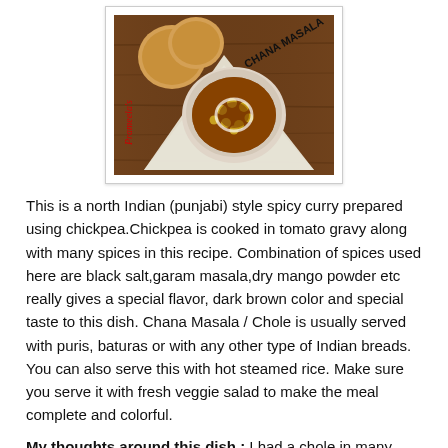[Figure (photo): Overhead photograph of Chana Masala (chickpea curry) in a white bowl on a wooden tray with puri bread, labeled 'Prameela's Chana Masala']
This is a north Indian (punjabi) style spicy curry prepared using chickpea.Chickpea is cooked in tomato gravy along with many spices in this recipe. Combination of spices used here are black salt,garam masala,dry mango powder etc really gives a special flavor, dark brown color and special taste to this dish. Chana Masala / Chole is usually served with puris, baturas or with any other type of Indian breads. You can also serve this with hot steamed rice. Make sure you serve it with fresh veggie salad to make the meal complete and colorful.
My thoughts around this dish : I had a chole in many